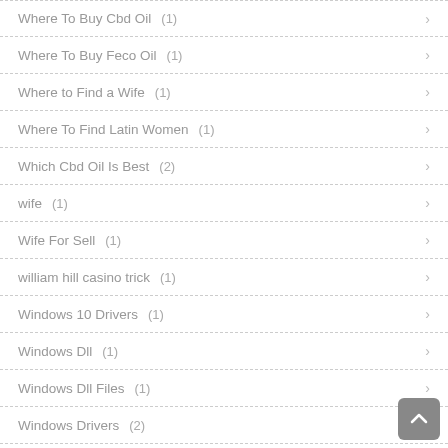Where To Buy Cbd Oil (1)
Where To Buy Feco Oil (1)
Where to Find a Wife (1)
Where To Find Latin Women (1)
Which Cbd Oil Is Best (2)
wife (1)
Wife For Sell (1)
william hill casino trick (1)
Windows 10 Drivers (1)
Windows Dll (1)
Windows Dll Files (1)
Windows Drivers (2)